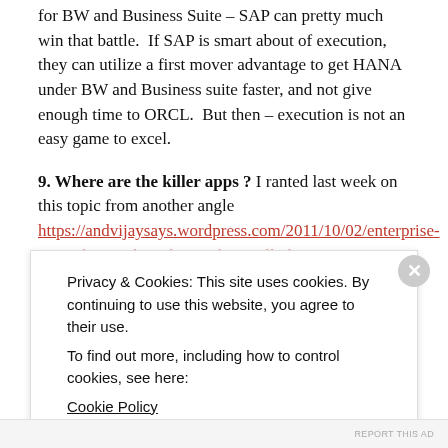for BW and Business Suite – SAP can pretty much win that battle.  If SAP is smart about of execution, they can utilize a first mover advantage to get HANA under BW and Business suite faster, and not give enough time to ORCL.  But then – execution is not an easy game to excel.
9. Where are the killer apps ?  I ranted last week on this topic from another angle https://andvijaysays.wordpress.com/2011/10/02/enterprise-apps-change-the-rules-or-they-will-change-you/ .  At least for
Privacy & Cookies: This site uses cookies. By continuing to use this website, you agree to their use.
To find out more, including how to control cookies, see here:
Cookie Policy
Close and accept